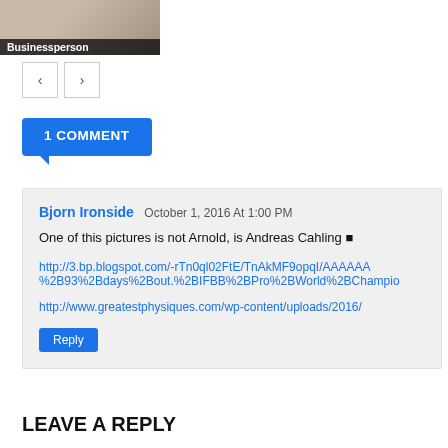[Figure (photo): Partial photo of a person with a 'Businessperson' label overlay at the bottom]
< >
1 COMMENT
Bjorn Ironside October 1, 2016 At 1:00 PM
One of this pictures is not Arnold, is Andreas Cahling 🔲

http://3.bp.blogspot.com/-rTn0ql02FtE/TnAkMF9opqI/AAAAAA...
%2B93%2Bdays%2Bout.%2BIFBB%2BPro%2BWorld%2BChampio...

http://www.greatestphysiques.com/wp-content/uploads/2016/...
LEAVE A REPLY